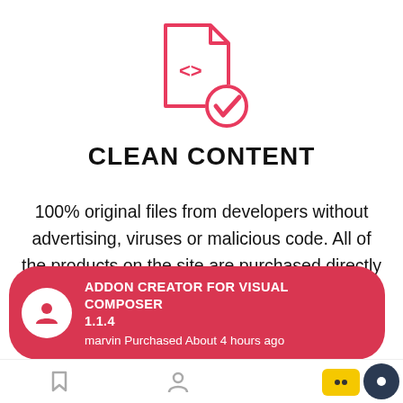[Figure (illustration): Pink/red outlined icon of a code file with a checkmark badge overlay]
CLEAN CONTENT
100% original files from developers without advertising, viruses or malicious code. All of the products on the site are purchased directly from the developers, rather than being downloaded from other websites. Our development team creates the activated versions, and the files do not move via "third hands," so you can be
ADDON CREATOR FOR VISUAL COMPOSER 1.1.4
marvin Purchased About 4 hours ago